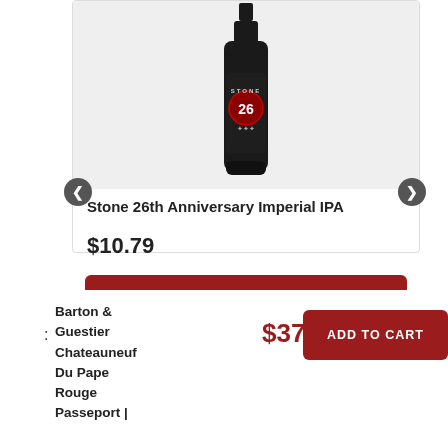[Figure (photo): Dark beer bottle labeled 'Stone 26' with red circular logo and skull imagery, on light gray background]
Stone 26th Anniversary Imperial IPA
$10.79
ADD TO BAG
Barton & Guestier Chateauneuf Du Pape Rouge Passeport |
$37.79
ADD TO CART